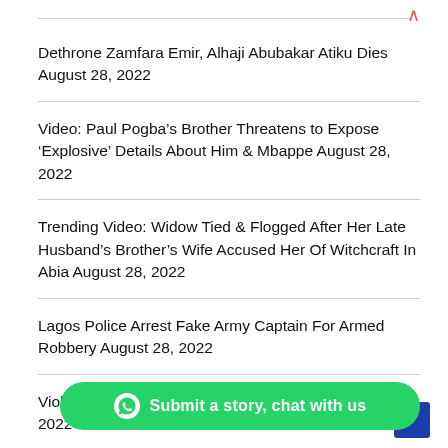Dethrone Zamfara Emir, Alhaji Abubakar Atiku Dies August 28, 2022
Video: Paul Pogba’s Brother Threatens to Expose ‘Explosive’ Details About Him & Mbappe August 28, 2022
Trending Video: Widow Tied & Flogged After Her Late Husband’s Brother’s Wife Accused Her Of Witchcraft In Abia August 28, 2022
Lagos Police Arrest Fake Army Captain For Armed Robbery August 28, 2022
Violent Clashes Claims 38 lives, a kills August 28, 2022